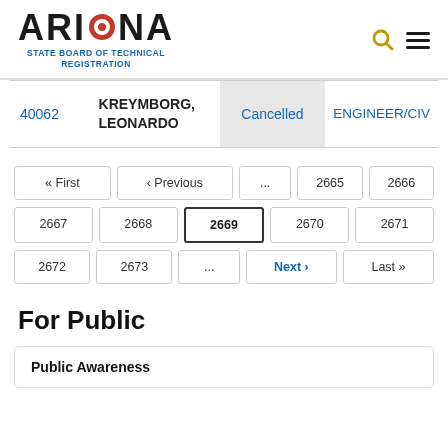ARIZONA STATE BOARD OF TECHNICAL REGISTRATION
| ID | Name | Status | Type |
| --- | --- | --- | --- |
| 40062 | KREYMBORG, LEONARDO | Cancelled | ENGINEER/CIV |
« First
‹ Previous
...
2665
2666
2667
2668
2669
2670
2671
2672
2673
...
Next ›
Last »
For Public
Public Awareness